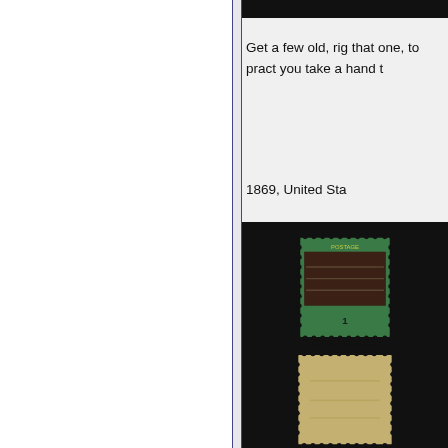Get a few old, rig that one, to pract you take a hand t
1869, United Sta
[Figure (photo): Two views of an 1869 United States postage stamp — front (green with dark pictorial vignette) and back (tan/beige gum side), both shown against black background]